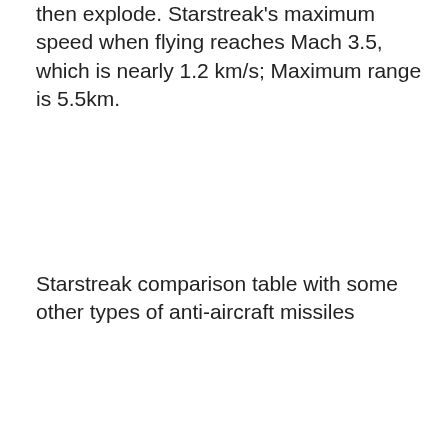then explode. Starstreak's maximum speed when flying reaches Mach 3.5, which is nearly 1.2 km/s; Maximum range is 5.5km.
Starstreak comparison table with some other types of anti-aircraft missiles